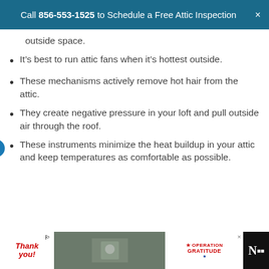Call 856-553-1525 to Schedule a Free Attic Inspection
outside space.
It’s best to run attic fans when it’s hottest outside.
These mechanisms actively remove hot hair from the attic.
They create negative pressure in your loft and pull outside air through the roof.
These instruments minimize the heat buildup in your attic and keep temperatures as comfortable as possible.
[Figure (other): Advertisement banner: Thank You with US flag imagery, military photo, Operation Gratitude logo]